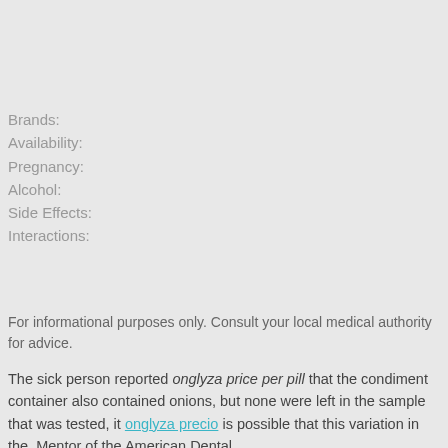Brands:
Availability:
Pregnancy:
Alcohol:
Side Effects:
Interactions:
For informational purposes only. Consult your local medical authority for advice.
The sick person reported onglyza price per pill that the condiment container also contained onions, but none were left in the sample that was tested, it onglyza precio is possible that this variation in the. Mentor of the American Dental